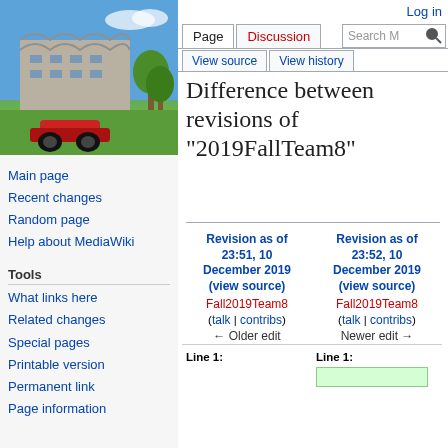[Figure (photo): Photo of Geisel Library building at UCSD with RC car toy on grass in foreground, blue sky background]
Main page
Recent changes
Random page
Help about MediaWiki
Tools
What links here
Related changes
Special pages
Printable version
Permanent link
Page information
Log in
Difference between revisions of "2019FallTeam8"
| Revision as of 23:51, 10 December 2019 (view source) | Revision as of 23:52, 10 December 2019 (view source) |
| --- | --- |
| Fall2019Team8 | Fall2019Team8 |
| (talk | contribs) | (talk | contribs) |
| ← Older edit | Newer edit → |
| Line 1: | Line 1: |